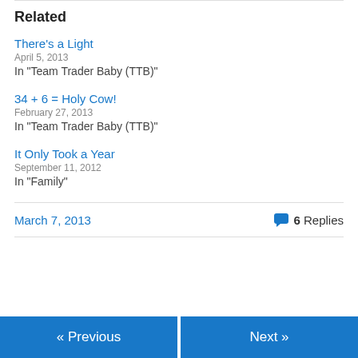Related
There's a Light
April 5, 2013
In "Team Trader Baby (TTB)"
34 + 6 = Holy Cow!
February 27, 2013
In "Team Trader Baby (TTB)"
It Only Took a Year
September 11, 2012
In "Family"
March 7, 2013    💬 6 Replies
« Previous    Next »